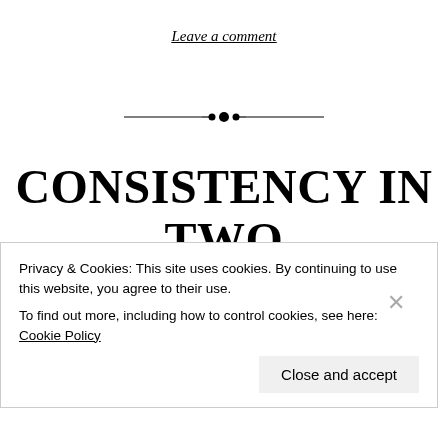Leave a comment
[Figure (illustration): Decorative horizontal divider with ornamental diamond/dot motif in the center]
CONSISTENCY IN TWO TRADITIONS OF FANTASY, PART 1
Privacy & Cookies: This site uses cookies. By continuing to use this website, you agree to their use. To find out more, including how to control cookies, see here: Cookie Policy
Close and accept